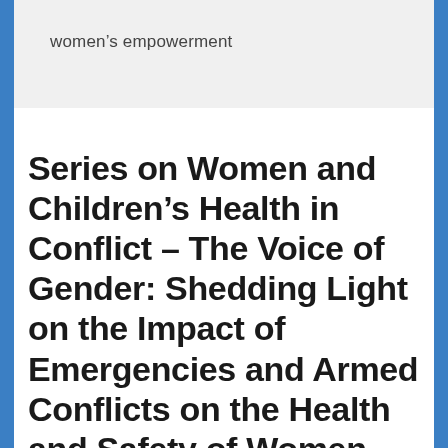women's empowerment
Series on Women and Children's Health in Conflict – The Voice of Gender: Shedding Light on the Impact of Emergencies and Armed Conflicts on the Health and Safety of Women and Girls